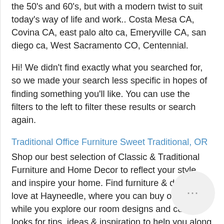the 50's and 60's, but with a modern twist to suit today's way of life and work.. Costa Mesa CA, Covina CA, east palo alto ca, Emeryville CA, san diego ca, West Sacramento CO, Centennial.
Hi! We didn't find exactly what you searched for, so we made your search less specific in hopes of finding something you'll like. You can use the filters to the left to filter these results or search again.
Traditional Office Furniture Sweet Traditional, OR
Shop our best selection of Classic & Traditional Furniture and Home Decor to reflect your style and inspire your home. Find furniture & decor you love at Hayneedle, where you can buy online while you explore our room designs and curated looks for tips, ideas & inspiration to help you along the way.
Modern Office Furniture Martin, TN Modern Office Furniture Graham, TX Modern Office Furniture Highland Heights KY Furniture Palo Gold Springs KY...